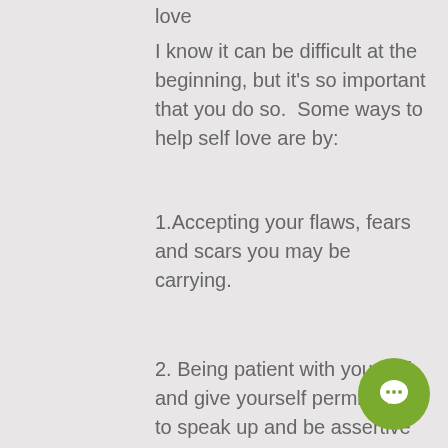love
I know it can be difficult at the beginning, but it's so important that you do so.  Some ways to help self love are by:
1.Accepting your flaws, fears and scars you may be carrying.
2. Being patient with yourself, and give yourself permission to speak up and be assertive when needed.
3. Removing yourself from toxic relationships from your life. I know it can often be a sensitive subject, but by